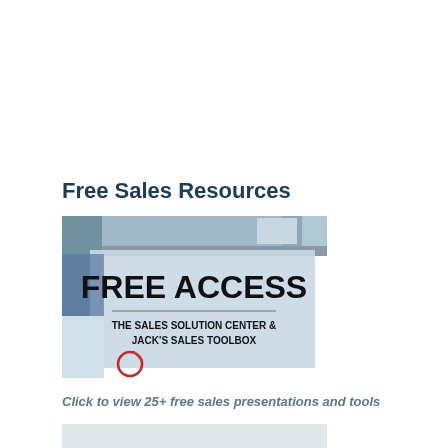Free Sales Resources
[Figure (illustration): Promotional banner image with grey/blue overlay showing 'FREE ACCESS' in large bold text and subtitle 'THE SALES SOLUTION CENTER & JACK'S SALES TOOLBOX']
Click to view 25+ free sales presentations and tools
[Figure (illustration): Book cover image showing 'Free eBook' and subtitle 'WRITING THE WINNING BUSINESS PLAN']